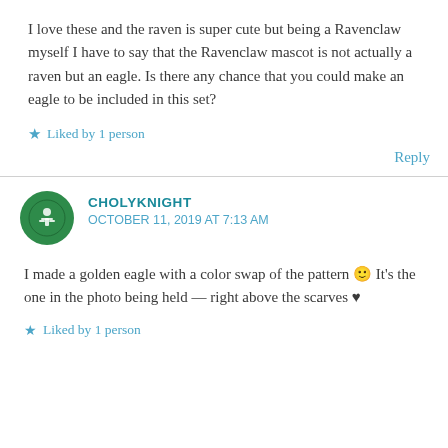I love these and the raven is super cute but being a Ravenclaw myself I have to say that the Ravenclaw mascot is not actually a raven but an eagle. Is there any chance that you could make an eagle to be included in this set?
★ Liked by 1 person
Reply
CHOLYKNIGHT
OCTOBER 11, 2019 AT 7:13 AM
I made a golden eagle with a color swap of the pattern 🙂 It's the one in the photo being held — right above the scarves ♥
★ Liked by 1 person